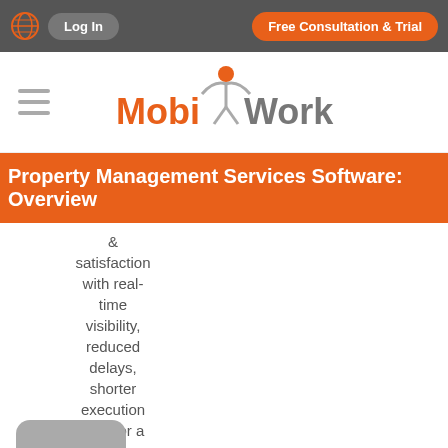Log In | Free Consultation & Trial
[Figure (logo): MobiWork logo with orange figure icon and gray/orange text]
Property Management Services Software: Overview
& satisfaction with real-time visibility, reduced delays, shorter execution time for a superior customer experience.